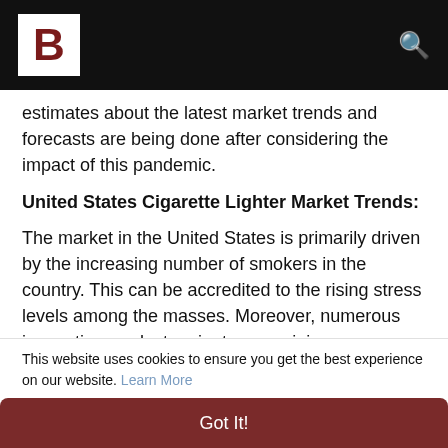B [logo] [search icon]
estimates about the latest market trends and forecasts are being done after considering the impact of this pandemic.
United States Cigarette Lighter Market Trends:
The market in the United States is primarily driven by the increasing number of smokers in the country. This can be accredited to the rising stress levels among the masses. Moreover, numerous innovative product variants are gaining prominence across the country, which is providing an impetus to the market growth. For instance, flint, stormproof and floating lighters are
This website uses cookies to ensure you get the best experience on our website. Learn More
Got It!